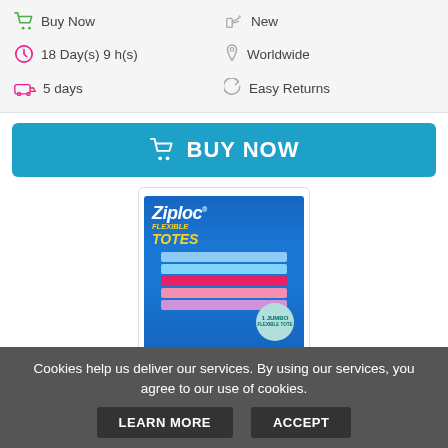Buy Now
New
18 Day(s) 9 h(s)
Worldwide
5 days
Easy Returns
BUY NOW
[Figure (photo): Ziploc Flexible Totes product box showing colorful storage totes/bags stacked, with 1 Jumbo badge]
Ziploc Flexible Totes Clothes and Bl...
$12.08
Cookies help us deliver our services. By using our services, you agree to our use of cookies.
LEARN MORE
ACCEPT